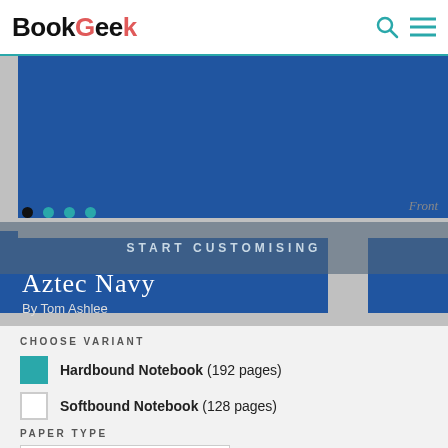BookGeek
[Figure (screenshot): Aztec Navy notebook cover by Tom Ashlee — geometric blue pattern on grey background, with navigation dots and Front label. Overlay band reads START CUSTOMISING.]
CHOOSE VARIANT
Hardbound Notebook (192 pages)
Softbound Notebook (128 pages)
PAPER TYPE
Lined